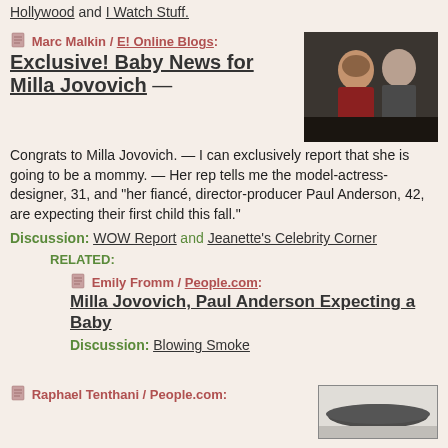Hollywood and I Watch Stuff.
Marc Malkin / E! Online Blogs: Exclusive! Baby News for Milla Jovovich — Congrats to Milla Jovovich. — I can exclusively report that she is going to be a mommy. — Her rep tells me the model-actress-designer, 31, and "her fiancé, director-producer Paul Anderson, 42, are expecting their first child this fall."
[Figure (photo): Photo of two people, a woman and a man, standing together in a dark setting. The woman appears to be wearing a red/burgundy outfit.]
Discussion: WOW Report and Jeanette's Celebrity Corner
RELATED:
Emily Fromm / People.com: Milla Jovovich, Paul Anderson Expecting a Baby
Discussion: Blowing Smoke
Raphael Tenthani / People.com:
[Figure (photo): Partial photo visible at bottom, appears to show a dark curved shape against a light background.]